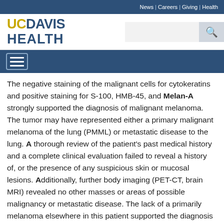News | Careers | Giving | Health
[Figure (logo): UC Davis Health logo with gold 'UC' and blue 'DAVIS HEALTH' text]
[Figure (other): Search box and search button with magnifying glass icon]
[Figure (other): Hamburger menu button with three horizontal lines]
The negative staining of the malignant cells for cytokeratins and positive staining for S-100, HMB-45, and Melan-A strongly supported the diagnosis of malignant melanoma. The tumor may have represented either a primary malignant melanoma of the lung (PMML) or metastatic disease to the lung. A thorough review of the patient's past medical history and a complete clinical evaluation failed to reveal a history of, or the presence of any suspicious skin or mucosal lesions. Additionally, further body imaging (PET-CT, brain MRI) revealed no other masses or areas of possible malignancy or metastatic disease. The lack of a primarily melanoma elsewhere in this patient supported the diagnosis of PMML. However, the diagnosis of PMML could not be